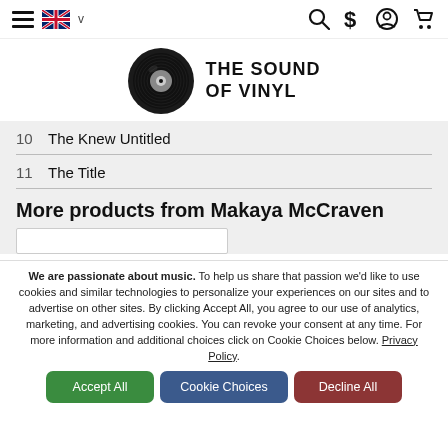THE SOUND OF VINYL — navigation bar with hamburger menu, UK flag, search, dollar, account, cart icons
[Figure (logo): The Sound Of Vinyl logo: vinyl record disc icon with THE SOUND OF VINYL text]
10   The Knew Untitled
11   The Title
More products from Makaya McCraven
We are passionate about music. To help us share that passion we'd like to use cookies and similar technologies to personalize your experiences on our sites and to advertise on other sites. By clicking Accept All, you agree to our use of analytics, marketing, and advertising cookies. You can revoke your consent at any time. For more information and additional choices click on Cookie Choices below. Privacy Policy.
Accept All | Cookie Choices | Decline All